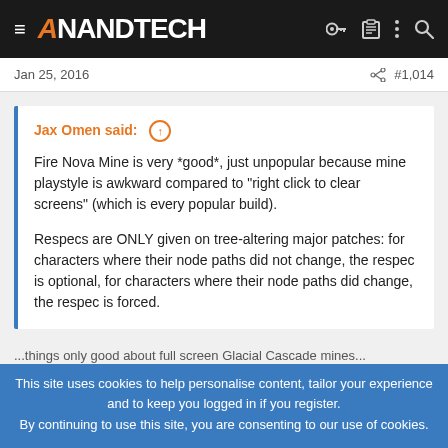≡ AnandTech
Jan 25, 2016   #1,014
Jax Omen said: ↑

Fire Nova Mine is very *good*, just unpopular because mine playstyle is awkward compared to "right click to clear screens" (which is every popular build).

Respecs are ONLY given on tree-altering major patches: for characters where their node paths did not change, the respec is optional, for characters where their node paths did change, the respec is forced.
This site uses cookies to help personalise content, tailor your experience and to keep you logged in if you register.
By continuing to use this site, you are consenting to our use of cookies.